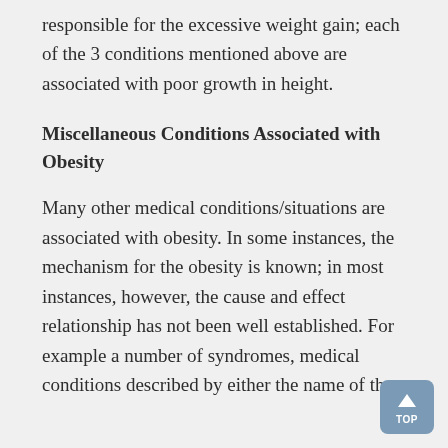responsible for the excessive weight gain; each of the 3 conditions mentioned above are associated with poor growth in height.
Miscellaneous Conditions Associated with Obesity
Many other medical conditions/situations are associated with obesity. In some instances, the mechanism for the obesity is known; in most instances, however, the cause and effect relationship has not been well established. For example a number of syndromes, medical conditions described by either the name of the